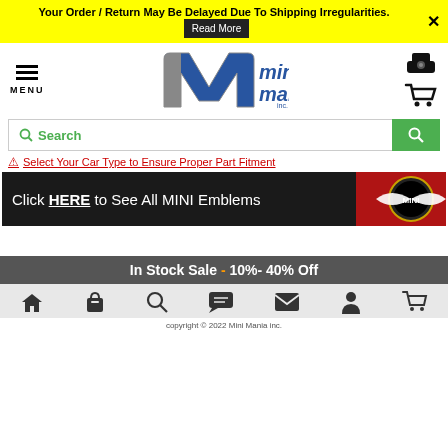Your Order / Return May Be Delayed Due To Shipping Irregularities. Read More
[Figure (logo): Mini Mania inc. logo with stylized M and blue mini mania inc. text]
Search
⚠ Select Your Car Type to Ensure Proper Part Fitment
[Figure (infographic): Black banner ad: Click HERE to See All MINI Emblems, with MINI emblem photo on right]
In Stock Sale - 10%- 40% Off
copyright © 2022 Mini Mania inc.